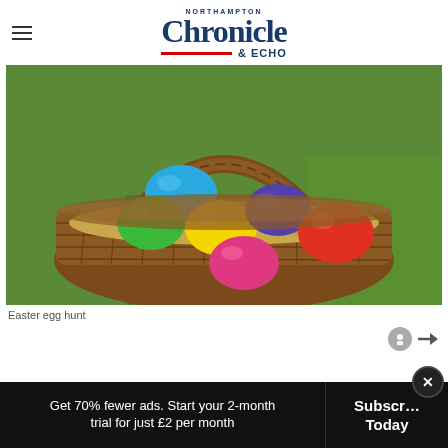NORTHAMPTON Chronicle & ECHO
[Figure (photo): A wicker basket filled with colourful Easter eggs (blue, green, yellow, purple, red/orange, pink) resting on straw, set on green grass.]
Easter egg hunt
Get 70% fewer ads. Start your 2-month trial for just £2 per month
Subscribe Today